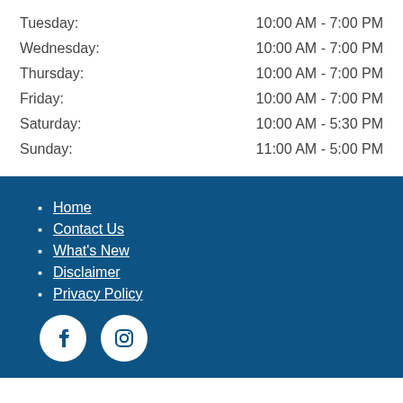Tuesday: 10:00 AM - 7:00 PM
Wednesday: 10:00 AM - 7:00 PM
Thursday: 10:00 AM - 7:00 PM
Friday: 10:00 AM - 7:00 PM
Saturday: 10:00 AM - 5:30 PM
Sunday: 11:00 AM - 5:00 PM
Home | Contact Us | What's New | Disclaimer | Privacy Policy